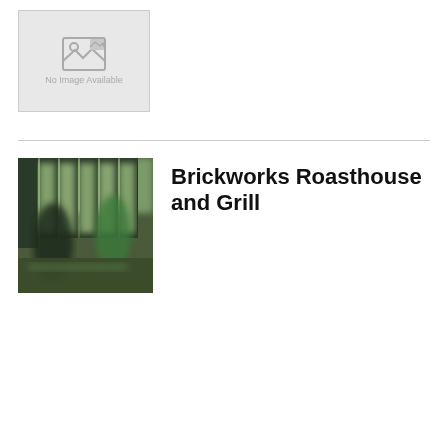[Figure (photo): No Image Available placeholder box with a photo icon and text]
[Figure (photo): Blurred photo of people inside Brickworks Roasthouse and Grill restaurant]
Brickworks Roasthouse and Grill